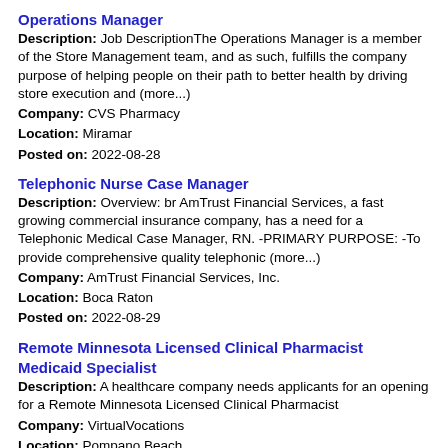Operations Manager
Description: Job DescriptionThe Operations Manager is a member of the Store Management team, and as such, fulfills the company purpose of helping people on their path to better health by driving store execution and (more...)
Company: CVS Pharmacy
Location: Miramar
Posted on: 2022-08-28
Telephonic Nurse Case Manager
Description: Overview: br AmTrust Financial Services, a fast growing commercial insurance company, has a need for a Telephonic Medical Case Manager, RN. -PRIMARY PURPOSE: -To provide comprehensive quality telephonic (more...)
Company: AmTrust Financial Services, Inc.
Location: Boca Raton
Posted on: 2022-08-29
Remote Minnesota Licensed Clinical Pharmacist Medicaid Specialist
Description: A healthcare company needs applicants for an opening for a Remote Minnesota Licensed Clinical Pharmacist
Company: VirtualVocations
Location: Pompano Beach
Posted on: 2022-08-22
Remote Minnesota Licensed Clinical Pharmacist Medicaid